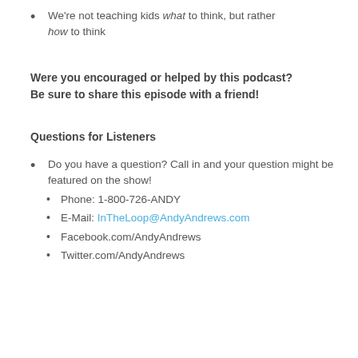We're not teaching kids what to think, but rather how to think
Were you encouraged or helped by this podcast? Be sure to share this episode with a friend!
Questions for Listeners
Do you have a question? Call in and your question might be featured on the show!
Phone: 1-800-726-ANDY
E-Mail: InTheLoop@AndyAndrews.com
Facebook.com/AndyAndrews
Twitter.com/AndyAndrews